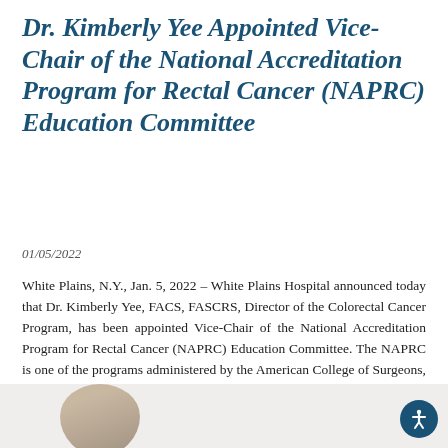Dr. Kimberly Yee Appointed Vice-Chair of the National Accreditation Program for Rectal Cancer (NAPRC) Education Committee
01/05/2022
White Plains, N.Y., Jan. 5, 2022 – White Plains Hospital announced today that Dr. Kimberly Yee, FACS, FASCRS, Director of the Colorectal Cancer Program, has been appointed Vice-Chair of the National Accreditation Program for Rectal Cancer (NAPRC) Education Committee. The NAPRC is one of the programs administered by the American College of Surgeons, a prestigious scientific [...]
[Figure (photo): Partial view of a person's photo at the bottom of the page, circular crop, on a light beige background strip]